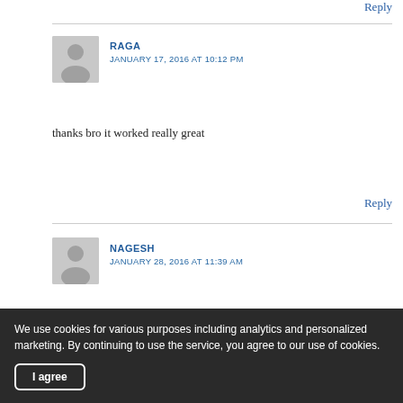Reply
RAGA
JANUARY 17, 2016 AT 10:12 PM
thanks bro it worked really great
Reply
NAGESH
JANUARY 28, 2016 AT 11:39 AM
Thanks a ton Jinsonku it works !!
We use cookies for various purposes including analytics and personalized marketing. By continuing to use the service, you agree to our use of cookies.
I agree